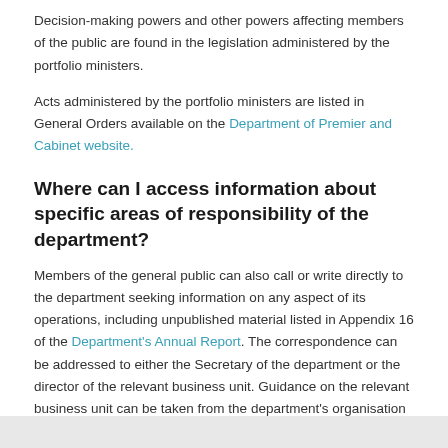Decision-making powers and other powers affecting members of the public are found in the legislation administered by the portfolio ministers.
Acts administered by the portfolio ministers are listed in General Orders available on the Department of Premier and Cabinet website.
Where can I access information about specific areas of responsibility of the department?
Members of the general public can also call or write directly to the department seeking information on any aspect of its operations, including unpublished material listed in Appendix 16 of the Department's Annual Report. The correspondence can be addressed to either the Secretary of the department or the director of the relevant business unit. Guidance on the relevant business unit can be taken from the department's organisation chart contained in the Annual Report.